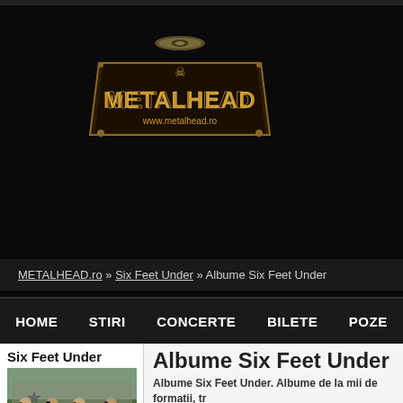[Figure (logo): METALHEAD logo with www.metalhead.ro URL, gold/bronze metallic text on dark background with decorative elements]
METALHEAD.ro » Six Feet Under » Albume Six Feet Under
HOME   STIRI   CONCERTE   BILETE   POZE
Six Feet Under
[Figure (photo): Band photo of Six Feet Under - four band members with long hair standing together outdoors]
Albume Six Feet Under
Albume Six Feet Under. Albume de la mii de formatii, tr